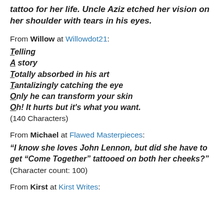tattoo for her life. Uncle Aziz etched her vision on her shoulder with tears in his eyes.
From Willow at Willowdot21:
Telling
A story
Totally absorbed in his art
Tantalizingly catching the eye
Only he can transform your skin
Oh! It hurts but it's what you want.
(140 Characters)
From Michael at Flawed Masterpieces:
“I know she loves John Lennon, but did she have to get “Come Together” tattooed on both her cheeks?”
(Character count: 100)
From Kirst at Kirst Writes: